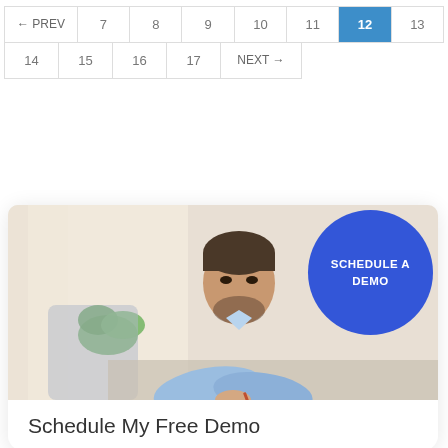| ← PREV | 7 | 8 | 9 | 10 | 11 | 12 | 13 |
| --- | --- | --- | --- | --- | --- | --- | --- |
| 14 | 15 | 16 | 17 | NEXT → |
| --- | --- | --- | --- | --- |
[Figure (photo): Man in light blue shirt sitting at a desk, with a large blue circle overlay saying SCHEDULE A DEMO]
Schedule My Free Demo